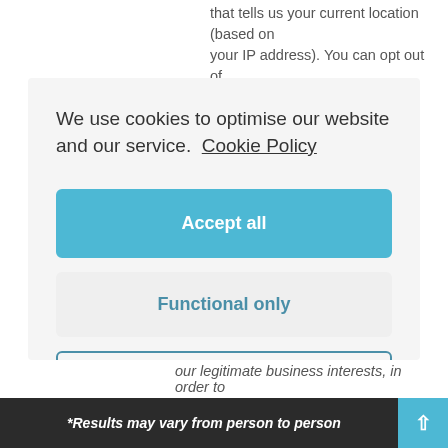that tells us your current location (based on your IP address). You can opt out of
We use cookies to optimise our website and our service. Cookie Policy
Accept all
Functional only
Preferences
our legitimate business interests, in order to
*Results may vary from person to person